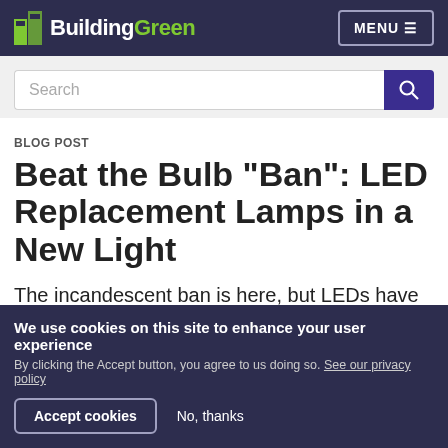BuildingGreen — MENU
Search
BLOG POST
Beat the Bulb "Ban": LED Replacement Lamps in a New Light
The incandescent ban is here, but LEDs have improved rapidly in the last couple of
We use cookies on this site to enhance your user experience
By clicking the Accept button, you agree to us doing so. See our privacy policy
Accept cookies   No, thanks